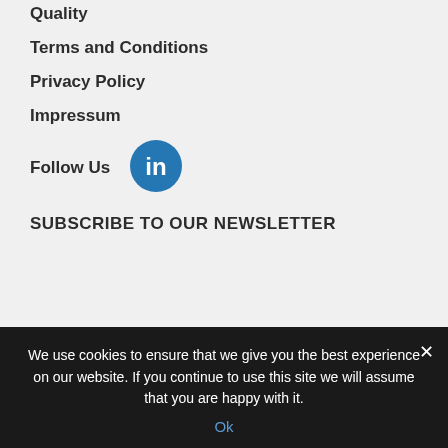Quality
Terms and Conditions
Privacy Policy
Impressum
Follow Us
[Figure (logo): LinkedIn circular logo icon in blue]
SUBSCRIBE TO OUR NEWSLETTER
Enter Company e-mail   SUBMIT
We use cookies to ensure that we give you the best experience on our website. If you continue to use this site we will assume that you are happy with it.
Ok